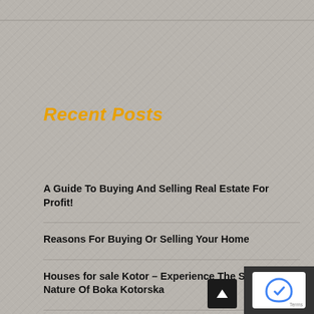Recent Posts
A Guide To Buying And Selling Real Estate For Profit!
Reasons For Buying Or Selling Your Home
Houses for sale Kotor – Experience The Stunning Nature Of Boka Kotorska
Some Tips On How To Buy Real Estate In Belize
How Much are Stamp Duty and Registration Charges in Mumbai?
Quincy Street Review: The Best in the Business?
The A – Z Of Trust And Estate Planning Attorney